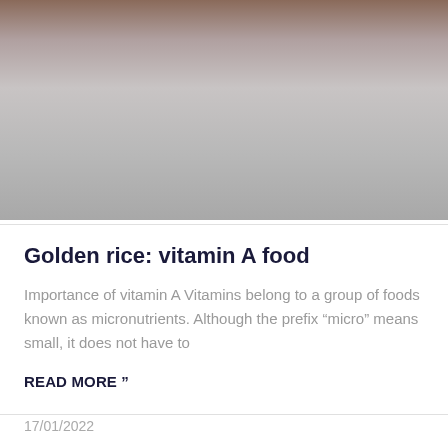[Figure (photo): Partially visible image of food, fading into a gray gradient placeholder area]
Golden rice: vitamin A food
Importance of vitamin A Vitamins belong to a group of foods known as micronutrients. Although the prefix “micro” means small, it does not have to
READ MORE "
17/01/2022